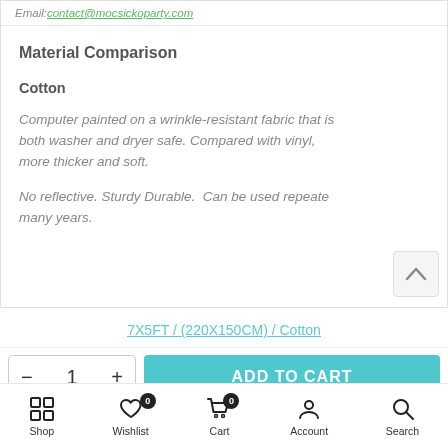Email: contact@mocsickoparty.com
Material Comparison
Cotton
Computer painted on a wrinkle-resistant fabric that is both washer and dryer safe. Compared with vinyl, more thicker and soft.
No reflective. Sturdy Durable.  Can be used repeatedly many years.
7X5FT / (220X150CM) / Cotton
- 1 + ADD TO CART
Shop  Wishlist  Cart  Account  Search